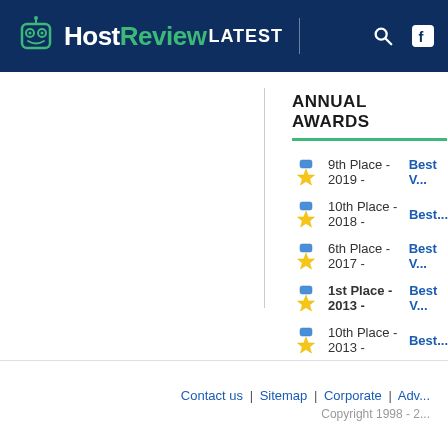HostReview LATEST
ANNUAL AWARDS
9th Place - 2019 - Best V...
10th Place - 2018 - Best...
6th Place - 2017 - Best V...
1st Place - 2013 - Best V...
10th Place - 2013 - Best...
Contact us | Sitemap | Corporate | Adv... Copyright 1998 - 2...